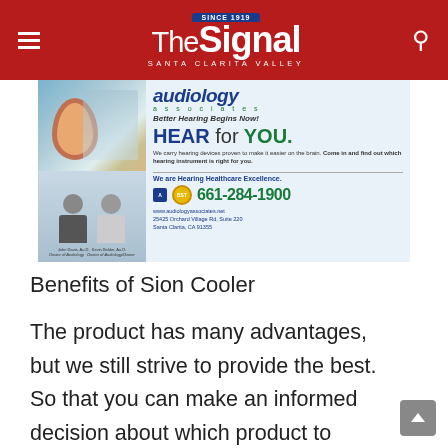The Signal — Santa Clarita Valley
[Figure (infographic): Audiology Associates advertisement: 'Better Hearing Begins Now! HEAR for YOU. We carry hearing devices proven to make it easier on the brain. Come in and find out which hearing instrument is right for you. We are Hearing Healthcare Excellence. 661-284-1900. www.audiologyassociates.net. 25425 Orchard Village Rd, Suite 220, Santa Clarita, CA 91355. John Davis, Au.D. Doctor of Audiology. Kevin Bolder, Au.D. Doctor of Audiology/Owner.']
Benefits of Sion Cooler
The product has many advantages, but we still strive to provide the best. So that you can make an informed decision about which product to choose, list the key benefits. Whether it’s right for you.